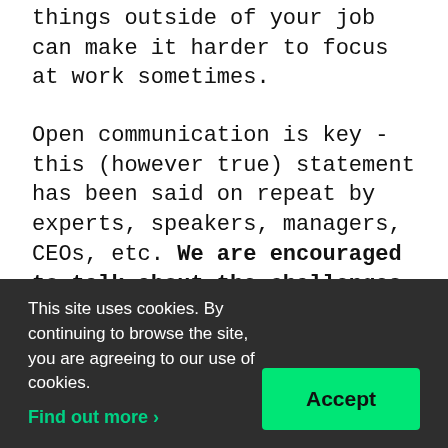things outside of your job can make it harder to focus at work sometimes.
Open communication is key - this (however true) statement has been said on repeat by experts, speakers, managers, CEOs, etc. We are encouraged to talk about the challenges we are facing, the shortcomings of our team, the anxiety and reservation we may have for changes. But how to fight the shame and the “lose face” type of f...
This site uses cookies. By continuing to browse the site, you are agreeing to our use of cookies.
Find out more ›
Accept